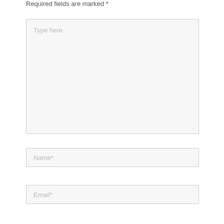Required fields are marked *
[Figure (other): Large text area input field with placeholder text 'Type here..' and a resize handle in the bottom right corner]
[Figure (other): Text input field with placeholder text 'Name*']
[Figure (other): Text input field with placeholder text 'Email*']